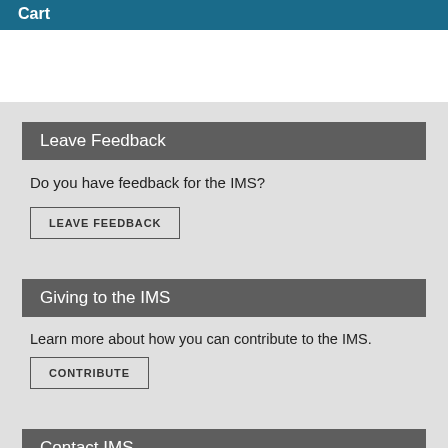Cart
Leave Feedback
Do you have feedback for the IMS?
LEAVE FEEDBACK
Giving to the IMS
Learn more about how you can contribute to the IMS.
CONTRIBUTE
Contact IMS